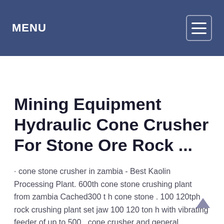MENU
Mining Equipment Hydraulic Cone Crusher For Stone Ore Rock ...
· cone stone crusher in zambia - Best Kaolin Processing Plant. 600th cone stone crushing plant from zambia Cached300 t h cone stone . 100 120tph rock crushing plant set jaw 100 120 ton h with vibrating feeder of up to 500 . cone crusher and general hydraulic cone crusher, and …